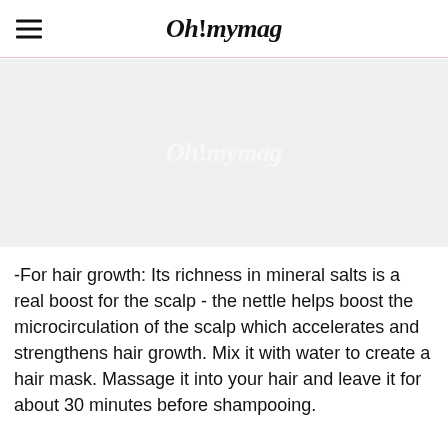Oh!mymag
[Figure (photo): Light grey placeholder image area with faint 'Oh!mymag' watermark text in white]
-For hair growth: Its richness in mineral salts is a real boost for the scalp - the nettle helps boost the microcirculation of the scalp which accelerates and strengthens hair growth. Mix it with water to create a hair mask. Massage it into your hair and leave it for about 30 minutes before shampooing.